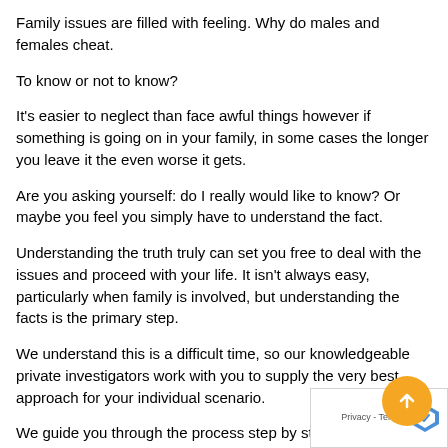Family issues are filled with feeling. Why do males and females cheat.
To know or not to know?
It's easier to neglect than face awful things however if something is going on in your family, in some cases the longer you leave it the even worse it gets.
Are you asking yourself: do I really would like to know? Or maybe you feel you simply have to understand the fact.
Understanding the truth truly can set you free to deal with the issues and proceed with your life. It isn't always easy, particularly when family is involved, but understanding the facts is the primary step.
We understand this is a difficult time, so our knowledgeable private investigators work with you to supply the very best approach for your individual scenario.
We guide you through the process step by step, with